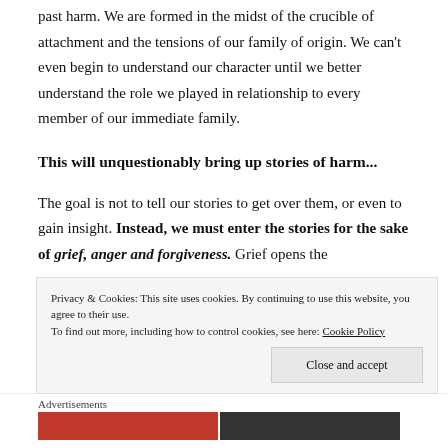past harm. We are formed in the midst of the crucible of attachment and the tensions of our family of origin. We can't even begin to understand our character until we better understand the role we played in relationship to every member of our immediate family.
This will unquestionably bring up stories of harm...
The goal is not to tell our stories to get over them, or even to gain insight. Instead, we must enter the stories for the sake of grief, anger and forgiveness. Grief opens the
Privacy & Cookies: This site uses cookies. By continuing to use this website, you agree to their use.
To find out more, including how to control cookies, see here: Cookie Policy
Close and accept
Advertisements